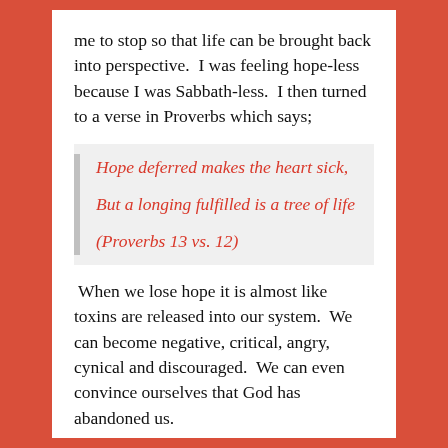me to stop so that life can be brought back into perspective.  I was feeling hope-less because I was Sabbath-less.  I then turned to a verse in Proverbs which says;
Hope deferred makes the heart sick,

But a longing fulfilled is a tree of life

(Proverbs 13 vs. 12)
When we lose hope it is almost like toxins are released into our system.  We can become negative, critical, angry, cynical and discouraged.  We can even convince ourselves that God has abandoned us.